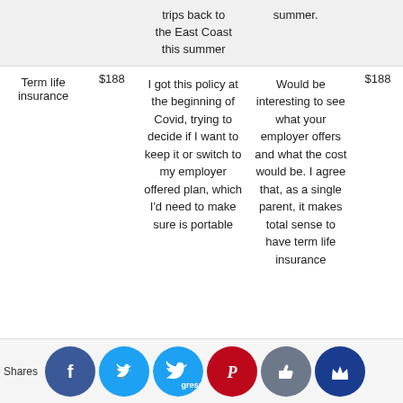|  |  | Comment | Reply | Amount |
| --- | --- | --- | --- | --- |
|  |  | trips back to the East Coast this summer | summer. |  |
| Term life insurance | $188 | I got this policy at the beginning of Covid, trying to decide if I want to keep it or switch to my employer offered plan, which I'd need to make sure is portable | Would be interesting to see what your employer offers and what the cost would be. I agree that, as a single parent, it makes total sense to have term life insurance | $188 |
Shares